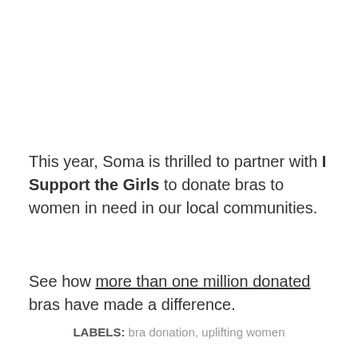This year, Soma is thrilled to partner with I Support the Girls to donate bras to women in need in our local communities.
See how more than one million donated bras have made a difference.
LABELS: bra donation, uplifting women